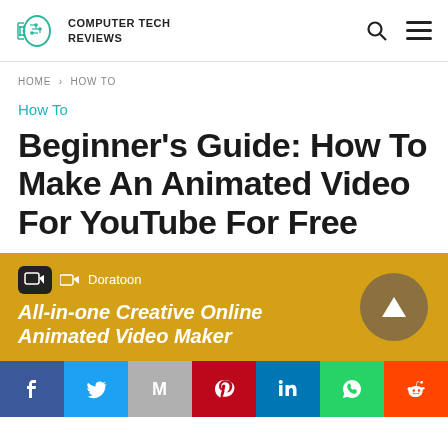Computer Tech Reviews
HOME › HOW TO
How To
Beginner's Guide: How To Make An Animated Video For YouTube For Free
[Figure (infographic): Doratoon advertisement banner: All-in-one Creative Online Animated Video Maker]
[Figure (infographic): Social sharing bar with Facebook, Twitter, Gmail, Pinterest, LinkedIn, WhatsApp, Reddit buttons]